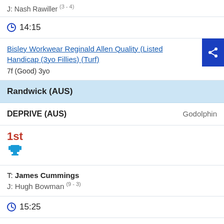J: Nash Rawiller (3 - 4)
14:15
Bisley Workwear Reginald Allen Quality (Listed Handicap) (3yo Fillies) (Turf)
7f (Good) 3yo
Randwick (AUS)
DEPRIVE (AUS)   Godolphin
1st
T: James Cummings
J: Hugh Bowman (9 - 3)
15:25
Camera House Sydney Stakes (Group 3) (3yo+) (Turf)
6f (Good) 3yo+